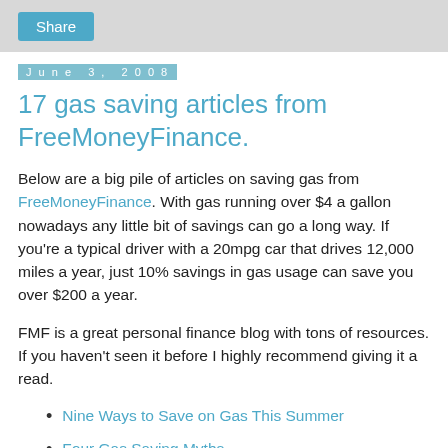Share
June 3, 2008
17 gas saving articles from FreeMoneyFinance.
Below are a big pile of articles on saving gas from FreeMoneyFinance. With gas running over $4 a gallon nowadays any little bit of savings can go a long way. If you're a typical driver with a 20mpg car that drives 12,000 miles a year, just 10% savings in gas usage can save you over $200 a year.
FMF is a great personal finance blog with tons of resources. If you haven't seen it before I highly recommend giving it a read.
Nine Ways to Save on Gas This Summer
Four Gas Saving Myths